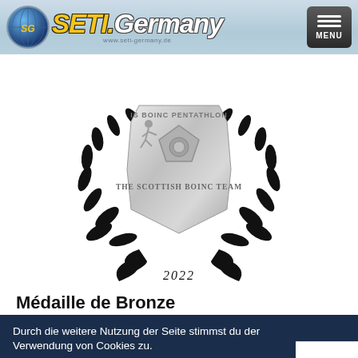SETI.Germany — www.seti-germany.de — MENU
[Figure (illustration): Silver medal / badge with laurel wreath, showing 'IS BOINC PENTATHLON', a running figure icon, pentagon badge, 'THE SCOTTISH BOINC TEAM', and year '2022']
Médaille de Bronze
Durch die weitere Nutzung der Seite stimmst du der Verwendung von Cookies zu.
Mehr Informationen?
Akzeptieren!
SETI.Germany reçoit donc 80 points pour le classement général e